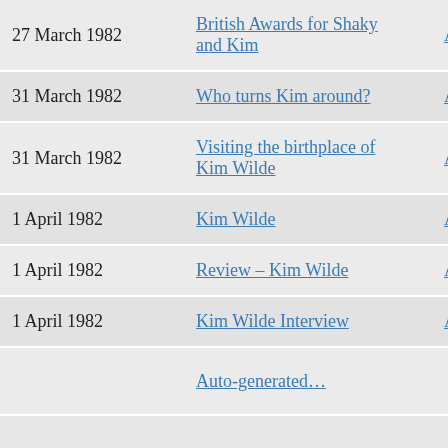| Date | Title | Type |
| --- | --- | --- |
| 27 March 1982 | British Awards for Shaky and Kim | Article |
| 31 March 1982 | Who turns Kim around? | Article |
| 31 March 1982 | Visiting the birthplace of Kim Wilde | Article |
| 1 April 1982 | Kim Wilde | Article |
| 1 April 1982 | Review – Kim Wilde | Article |
| 1 April 1982 | Kim Wilde Interview | Article |
|  | Auto-generated… |  |